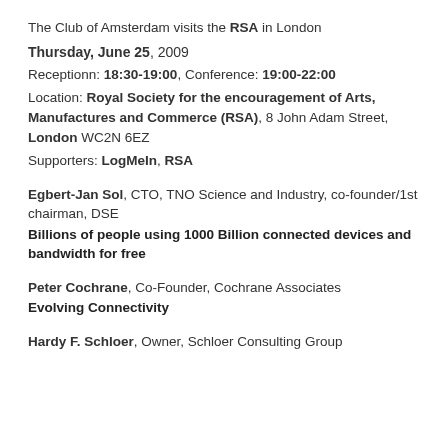The Club of Amsterdam visits the RSA in London
Thursday, June 25, 2009
Receptionn: 18:30-19:00, Conference: 19:00-22:00
Location: Royal Society for the encouragement of Arts, Manufactures and Commerce (RSA), 8 John Adam Street, London WC2N 6EZ
Supporters: LogMeIn, RSA
Egbert-Jan Sol, CTO, TNO Science and Industry, co-founder/1st chairman, DSE
Billions of people using 1000 Billion connected devices and bandwidth for free
Peter Cochrane, Co-Founder, Cochrane Associates
Evolving Connectivity
Hardy F. Schloer, Owner, Schloer Consulting Group